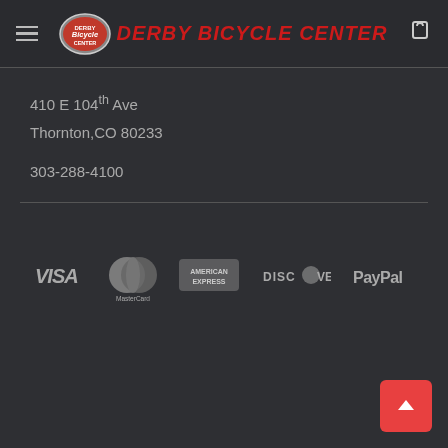Derby Bicycle Center
410 E 104th Ave
Thornton,CO 80233
303-288-4100
[Figure (logo): Payment method logos: VISA, MasterCard, American Express, Discover, PayPal]